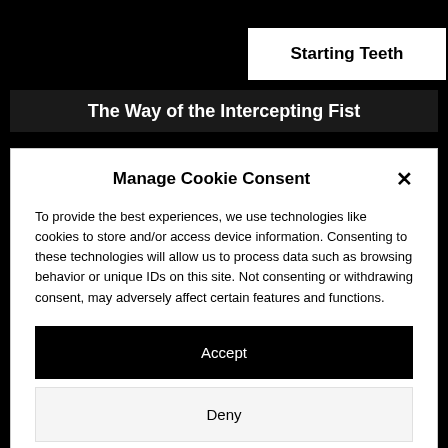Starting Teeth
The Way of the Intercepting Fist
Manage Cookie Consent
To provide the best experiences, we use technologies like cookies to store and/or access device information. Consenting to these technologies will allow us to process data such as browsing behavior or unique IDs on this site. Not consenting or withdrawing consent, may adversely affect certain features and functions.
Accept
Deny
View preferences
Cookie Policy   Privacy Statement